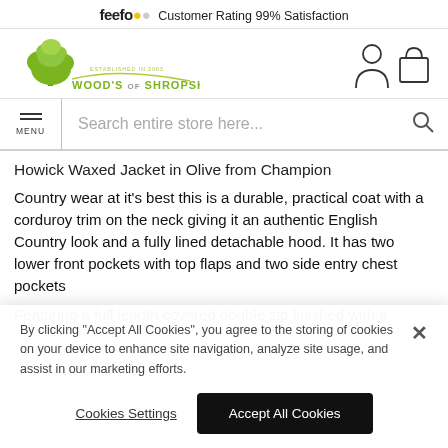feefo Customer Rating 99% Satisfaction
[Figure (logo): Wood's of Shropshire logo with green tree and olive/yellow curved line, text WOOD'S OF SHROPSHIRE ESTABLISHED IN 2003]
Howick Waxed Jacket in Olive from Champion
Country wear at it's best this is a durable, practical coat with a corduroy trim on the neck giving it an authentic English Country look and a fully lined detachable hood. It has two lower front pockets with top flaps and two side entry chest pockets
Featuring a full length covered double zip finished with a
By clicking “Accept All Cookies”, you agree to the storing of cookies on your device to enhance site navigation, analyze site usage, and assist in our marketing efforts.
Cookies Settings
Accept All Cookies